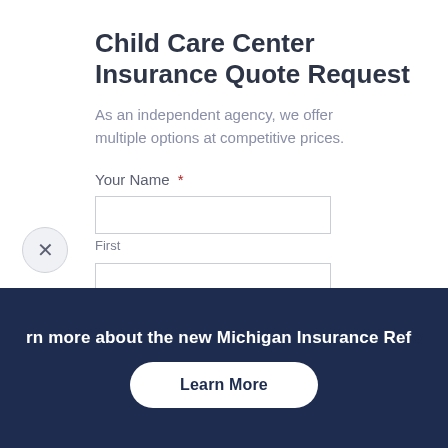Child Care Center Insurance Quote Request
As an independent agency, we offer multiple options at competitive prices.
Your Name *
First
Last
rn more about the new Michigan Insurance Ref...
Learn More